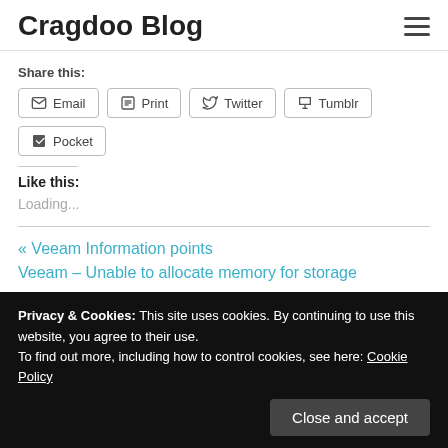Cragdoo Blog
Share this:
Email  Print  Twitter  Tumblr  Pocket
Like this:
Loading...
« Veeam Information points
Veeam – Unable to allocate memory for storage
Privacy & Cookies: This site uses cookies. By continuing to use this website, you agree to their use. To find out more, including how to control cookies, see here: Cookie Policy